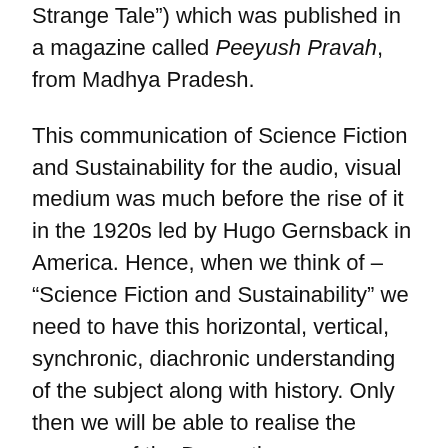Strange Tale") which was published in a magazine called Peeyush Pravah, from Madhya Pradesh.
This communication of Science Fiction and Sustainability for the audio, visual medium was much before the rise of it in the 1920s led by Hugo Gernsback in America. Hence, when we think of – “Science Fiction and Sustainability” we need to have this horizontal, vertical, synchronic, diachronic understanding of the subject along with history. Only then we will be able to realise the essence of the Descartian anthropocentric quote – “I Think Therefore I Am” which also found its place in my Acknowledgement Quote of my own Science Fiction Book on Sustainability – “Lucy and The Train: Tryst with Sustainability”.